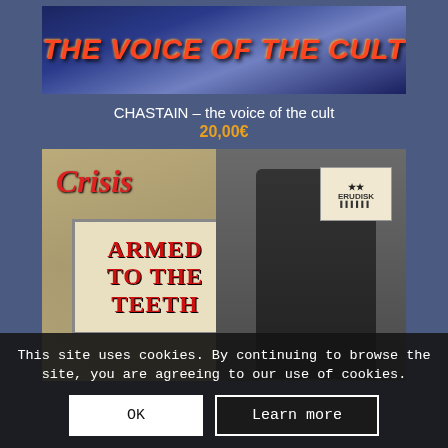[Figure (illustration): Banner image with dark blue gradient background and the text 'THE VOICE OF THE CULT' in large red italic bold letters]
CHASTAIN – the voice of the cult
20,00€
[Figure (photo): Album cover photo: Crisis - Armed to the Teeth. Shows a woman in dark outfit holding a weapon against a brick wall background, with the band name in red letters and album title in a sign on the left. A store sticker is visible in the upper right.]
This site uses cookies. By continuing to browse the site, you are agreeing to our use of cookies.
OK
Learn more